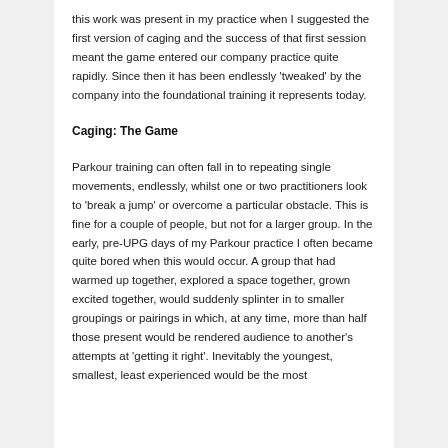this work was present in my practice when I suggested the first version of caging and the success of that first session meant the game entered our company practice quite rapidly. Since then it has been endlessly 'tweaked' by the company into the foundational training it represents today.
Caging: The Game
Parkour training can often fall in to repeating single movements, endlessly, whilst one or two practitioners look to 'break a jump' or overcome a particular obstacle. This is fine for a couple of people, but not for a larger group. In the early, pre-UPG days of my Parkour practice I often became quite bored when this would occur. A group that had warmed up together, explored a space together, grown excited together, would suddenly splinter in to smaller groupings or pairings in which, at any time, more than half those present would be rendered audience to another's attempts at 'getting it right'. Inevitably the youngest, smallest, least experienced would be the most